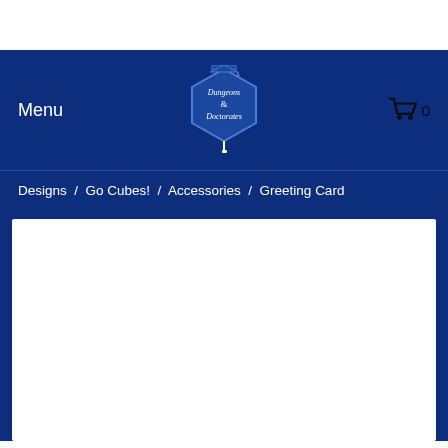Menu
[Figure (logo): Dungeons & Doctorates hexagon logo with graduation cap]
0
Designs / Go Cubes! / Accessories / Greeting Card
[Figure (other): White content card area on dark blue background]